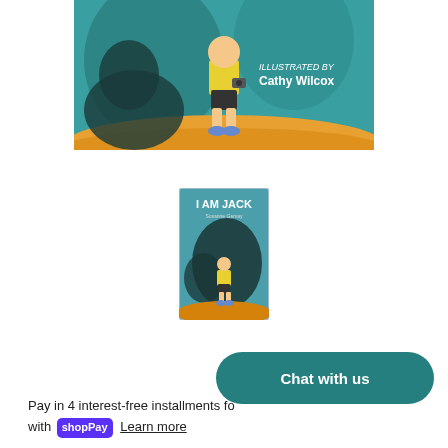[Figure (illustration): Top portion of 'I Am Jack' book cover showing a boy in yellow shirt with a camera, standing on orange/yellow ground, with a dark shadow figure behind him. Text reads 'ILLUSTRATED BY Cathy Wilcox'. Teal/blue crayon-style background.]
[Figure (illustration): Thumbnail of 'I Am Jack' book cover showing full cover with title 'I AM JACK' at top, small boy in yellow shirt standing on colorful ground, with large dark shadow looming behind him.]
Pay in 4 interest-free installments fo with shop Pay Learn more